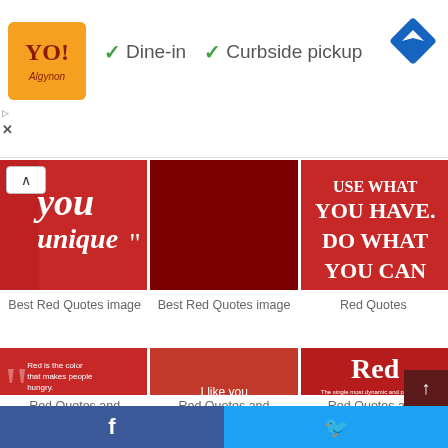[Figure (screenshot): Ad banner with restaurant logo, Dine-in and Curbside pickup checkmarks, and a navigation/directions icon]
[Figure (photo): Three red quote images in a horizontal grid row: 'you unique' quote, dark red panel, and 'USE WHAT YOU HAVE. DO WHAT YOU CAN' quote]
Best Red Quotes image
Best Red Quotes image
Red Quotes
[Figure (photo): Three red quote images: 'Red is the color that makes people hungry...' psychology of color quote, 'I like you More than I planned', and 'Red' color description panel]
Red Quotes and
Red Quotes and
Red Quotes and